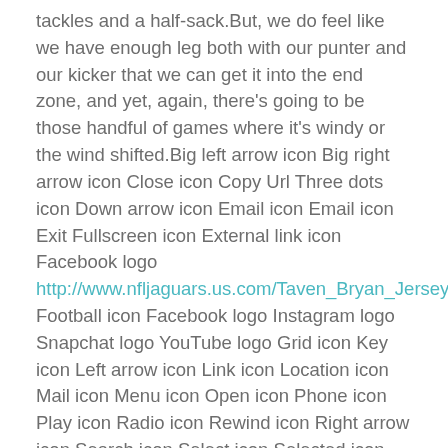tackles and a half-sack.But, we do feel like we have enough leg both with our punter and our kicker that we can get it into the end zone, and yet, again, there's going to be those handful of games where it's windy or the wind shifted.Big left arrow icon Big right arrow icon Close icon Copy Url Three dots icon Down arrow icon Email icon Email icon Exit Fullscreen icon External link icon Facebook logo http://www.nfljaguars.us.com/Taven_Bryan_Jersey Football icon Facebook logo Instagram logo Snapchat logo YouTube logo Grid icon Key icon Left arrow icon Link icon Location icon Mail icon Menu icon Open icon Phone icon Play icon Radio icon Rewind icon Right arrow icon Search icon Select icon Selected icon TV icon Twitter logo Twitter logo Up arrow icon User icon Audio icon Tickets iconAdd to calendar iconNFC icon AFC icon NFL icon Carousel IconList ViewWebsite InstagramTwitterFacebookSnapchatShop IconProfile